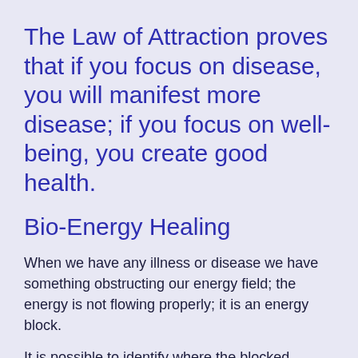The Law of Attraction proves that if you focus on disease, you will manifest more disease; if you focus on well-being, you create good health.
Bio-Energy Healing
When we have any illness or disease we have something obstructing our energy field; the energy is not flowing properly; it is an energy block.
It is possible to identify where the blocked energy is using a special technique, remove it